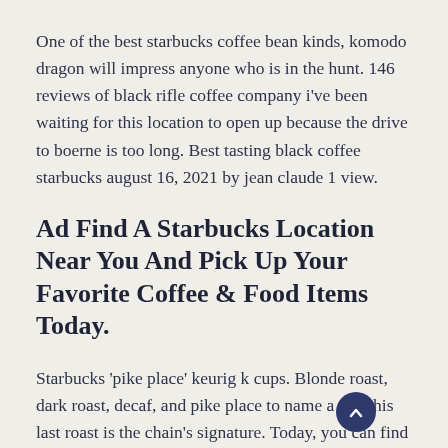One of the best starbucks coffee bean kinds, komodo dragon will impress anyone who is in the hunt. 146 reviews of black rifle coffee company i've been waiting for this location to open up because the drive to boerne is too long. Best tasting black coffee starbucks august 16, 2021 by jean claude 1 view.
Ad Find A Starbucks Location Near You And Pick Up Your Favorite Coffee & Food Items Today.
Starbucks 'pike place' keurig k cups. Blonde roast, dark roast, decaf, and pike place to name a few.this last roast is the chain's signature. Today, you can find several varieties of hot coffee on the starbucks menu: